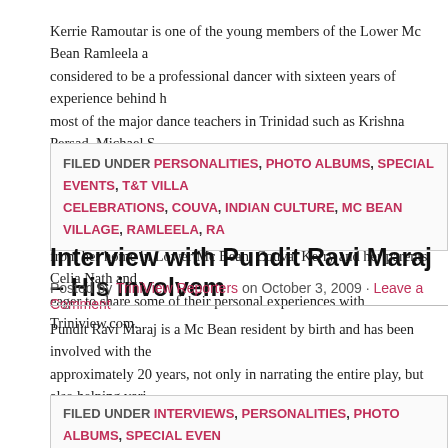Kerrie Ramoutar is one of the young members of the Lower Mc Bean Ramleela and is considered to be a professional dancer with sixteen years of experience behind her, training with most of the major dance teachers in Trinidad such as Krishna Persad, Michael S... Having covered just about all of the Indian dance styles like Classical, Chutney, R... confident that she is ready to have her own group called the Nritya Dance Compa... from her home in Lower Mc Bean, Couva. Kerry and her parents Celia Nath and ... eager to share some of their personal experiences with Triniview.com.
FILED UNDER PERSONALITIES, PHOTO ALBUMS, SPECIAL EVENTS, T&T VILLA... CELEBRATIONS, COUVA, INDIAN CULTURE, MC BEAN VILLAGE, RAMLEELA, RA...
Interview with Pundit Ravi Maraj – His involvem...
Posted by TriniView Reporters on October 3, 2009 · Leave a Comment
Pundit Ravi Maraj is a Mc Bean resident by birth and has been involved with the ... approximately 20 years, not only in narrating the entire play, but also helping vari... their Ramleela. A gifted and engaging storyteller, he sat down with Triniview.com... the Ramleela celebration.
FILED UNDER INTERVIEWS, PERSONALITIES, PHOTO ALBUMS, SPECIAL EVEN... TAGGED WITH CELEBRATIONS, COUVA, INDIAN CULTURE, MC BEAN VILLAGE, ...